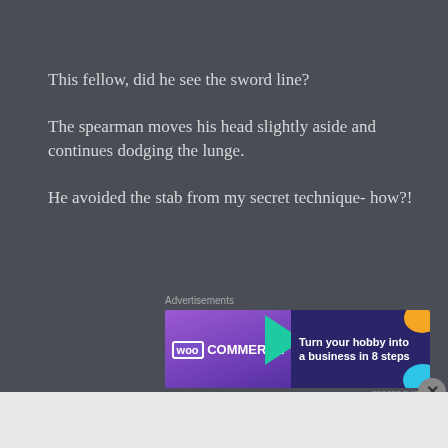This fellow, did he see the sword line?
The spearman moves his head slightly aside and continues dodging the lunge.
He avoided the stab from my secret technique- how?!
[Figure (other): WooCommerce advertisement banner: purple gradient background with WooCommerce logo on left and text 'Turn your hobby into a business in 8 steps' on right with colorful geometric shapes]
[Figure (other): MAC Cosmetics advertisement banner: lipsticks on white background with MAC logo and 'SHOP NOW' button]